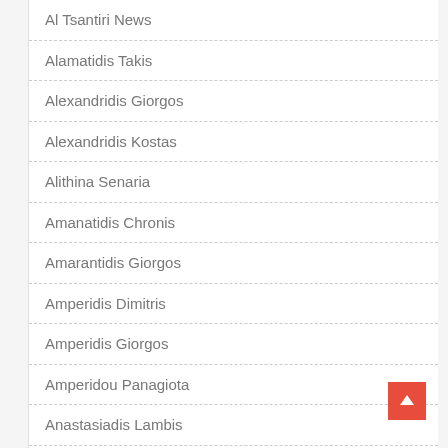Al Tsantiri News
Alamatidis Takis
Alexandridis Giorgos
Alexandridis Kostas
Alithina Senaria
Amanatidis Chronis
Amarantidis Giorgos
Amperidis Dimitris
Amperidis Giorgos
Amperidou Panagiota
Anastasiadis Lambis
Anastasiadis Simos
Anastasiadou Eleni